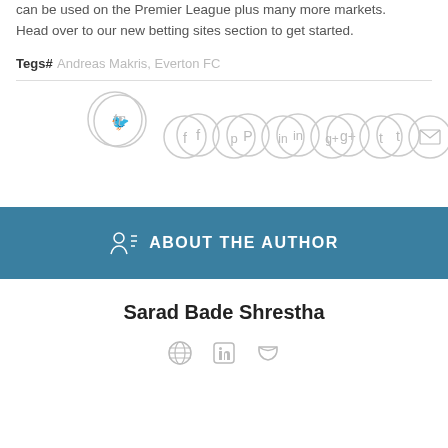can be used on the Premier League plus many more markets. Head over to our new betting sites section to get started.
Tegs# Andreas Makris, Everton FC
[Figure (infographic): Row of social sharing icon circles: Twitter (larger, elevated), Facebook, Pinterest, LinkedIn, Google+, Tumblr, Email]
ABOUT THE AUTHOR
Sarad Bade Shrestha
[Figure (infographic): Three small author social icons: globe/website, LinkedIn, Twitter]